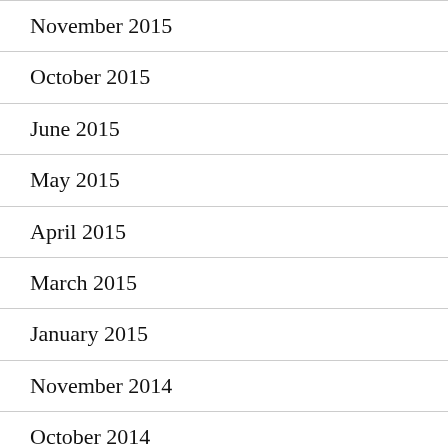November 2015
October 2015
June 2015
May 2015
April 2015
March 2015
January 2015
November 2014
October 2014
August 2014
July 2014
June 2014
March 2014